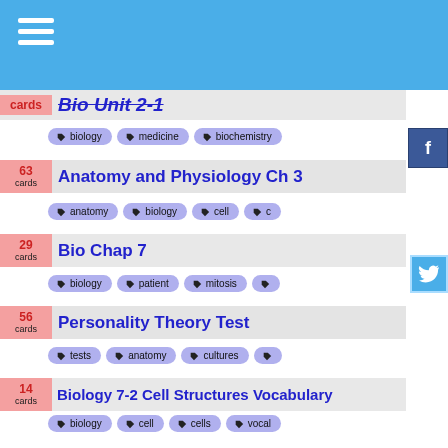Navigation menu header bar
cards | Bio Unit 2-1 | tags: biology, medicine, biochemistry
63 cards | Anatomy and Physiology Ch 3 | tags: anatomy, biology, cell, c...
29 cards | Bio Chap 7 | tags: biology, patient, mitosis
56 cards | Personality Theory Test | tags: tests, anatomy, cultures
14 cards | Biology 7-2 Cell Structures Vocabulary | tags: biology, cell, cells, vocal...
12 cards | Mild Cognitive Impairment (MCI) | tags: abcn, m-c-i-2, mci-nipg
25 cards | Lab M 1 | tags: medical, health, virus, bi...